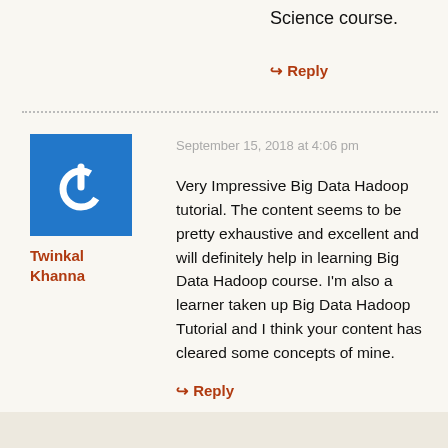Science course.
↳ Reply
[Figure (illustration): Blue square avatar with white power button icon]
Twinkal Khanna
September 15, 2018 at 4:06 pm
Very Impressive Big Data Hadoop tutorial. The content seems to be pretty exhaustive and excellent and will definitely help in learning Big Data Hadoop course. I'm also a learner taken up Big Data Hadoop Tutorial and I think your content has cleared some concepts of mine.
↳ Reply